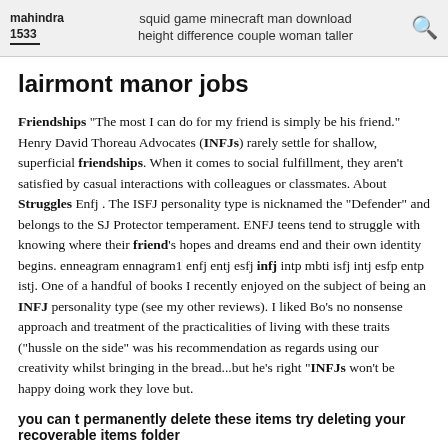mahindra 1533 | squid game minecraft man download height difference couple woman taller
lairmont manor jobs
Friendships "The most I can do for my friend is simply be his friend." Henry David Thoreau Advocates (INFJs) rarely settle for shallow, superficial friendships. When it comes to social fulfillment, they aren't satisfied by casual interactions with colleagues or classmates. About Struggles Enfj . The ISFJ personality type is nicknamed the "Defender" and belongs to the SJ Protector temperament. ENFJ teens tend to struggle with knowing where their friend's hopes and dreams end and their own identity begins. enneagram ennagram1 enfj entj esfj infj intp mbti isfj intj esfp entp istj. One of a handful of books I recently enjoyed on the subject of being an INFJ personality type (see my other reviews). I liked Bo's no nonsense approach and treatment of the practicalities of living with these traits ("hussle on the side" was his recommendation as regards using our creativity whilst bringing in the bread...but he's right "INFJs won't be happy doing work they love but.
you can t permanently delete these items try deleting your recoverable items folder